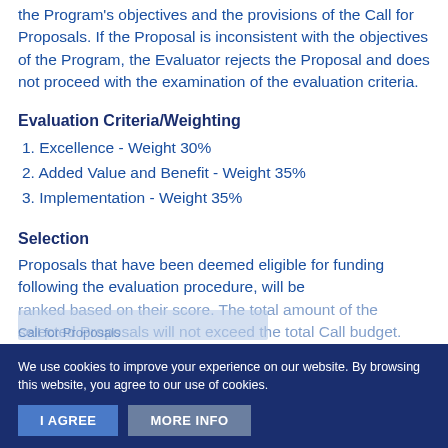the Program's objectives and the provisions of the Call for Proposals. If the Proposal is inconsistent with the objectives of the Program, the Evaluator rejects the Proposal and does not proceed with the examination of the evaluation criteria.
Evaluation Criteria/Weighting
1. Excellence - Weight 30%
2. Added Value and Benefit - Weight 35%
3. Implementation - Weight 35%
Selection
Proposals that have been deemed eligible for funding following the evaluation procedure, will be
[obscured by cookie banner] ...will not exceed the total Call budget.
Call for Proposals
We use cookies to improve your experience on our website. By browsing this website, you agree to our use of cookies.